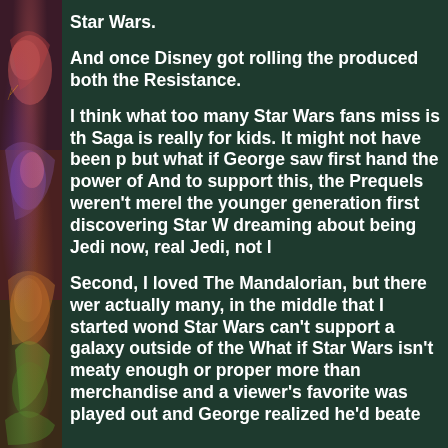Star Wars.
And once Disney got rolling the produced both the Resistance.
I think what too many Star Wars fans miss is th Saga is really for kids. It might not have been p but what if George saw first hand the power of And to support this, the Prequels weren't merel the younger generation first discovering Star W dreaming about being Jedi now, real Jedi, not l
Second, I loved The Mandalorian, but there wer actually many, in the middle that I started wond Star Wars can't support a galaxy outside of the What if Star Wars isn't meaty enough or proper more than merchandise and a viewer's favorite was played out and George realized he'd beate